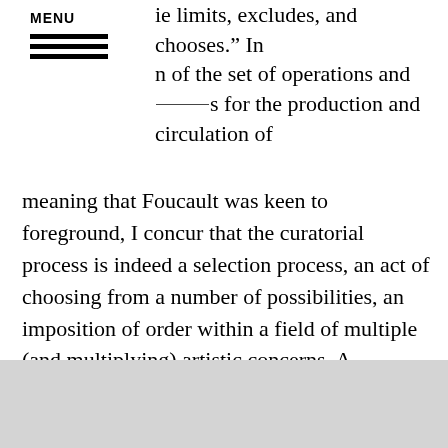MENU
ie limits, excludes, and chooses.” In n of the set of operations and ⸻ s for the production and circulation of meaning that Foucault was keen to foreground, I concur that the curatorial process is indeed a selection process, an act of choosing from a number of possibilities, an imposition of order within a field of multiple (and multiplying) artistic concerns. A curator’s role is precisely to create order, limit, exclude, and create meaning using existing signs, codes, and materials.
[Figure (photo): Grey/light colored image area at the bottom of the page, partially visible]